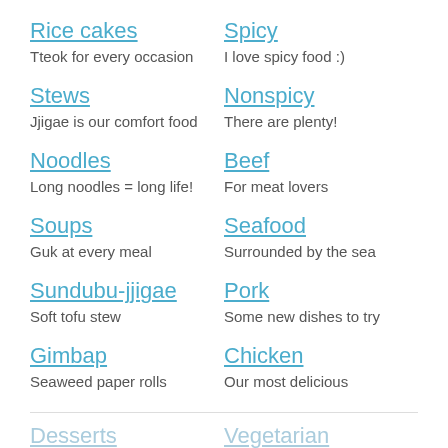Rice cakes
Tteok for every occasion
Spicy
I love spicy food :)
Stews
Jjigae is our comfort food
Nonspicy
There are plenty!
Noodles
Long noodles = long life!
Beef
For meat lovers
Soups
Guk at every meal
Seafood
Surrounded by the sea
Sundubu-jjigae
Soft tofu stew
Pork
Some new dishes to try
Gimbap
Seaweed paper rolls
Chicken
Our most delicious
Desserts
Vegetarian